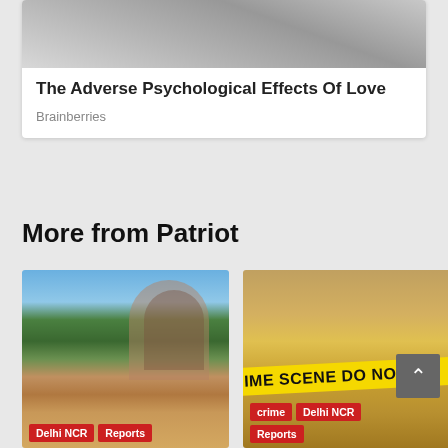[Figure (photo): Blurred close-up of a person's face, partially obscured, grayscale tones]
The Adverse Psychological Effects Of Love
Brainberries
More from Patriot
[Figure (photo): Outdoor photo of a historic Mughal-style arched gateway with trees on the left; soldiers/guards visible; tags: Delhi NCR, Reports]
[Figure (photo): Blurred crime scene photo with yellow crime scene tape reading 'CRIME SCENE DO NOT CROSS'; tags: crime, Delhi NCR, Reports]
Does anybody care about the caretakers
Only murders in the Capital!